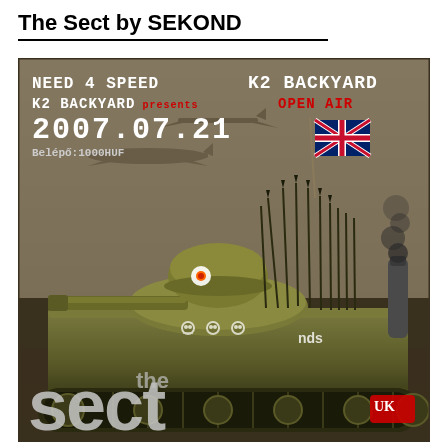The Sect by SEKOND
[Figure (illustration): Event poster for 'The Sect' - K2 Backyard Open Air on 2007.07.21. Military-themed illustration featuring a cartoon tank with soldier helmet on top, surrounded by rifles/weapons, with airplanes in background. Text reads: NEED 4 SPEED / K2 BACKYARD presents / 2007.07.21 / Belépő:1000HUF / K2 BACKYARD / OPEN AIR. Large graffiti-style 'sect' text at bottom with UK flag.]